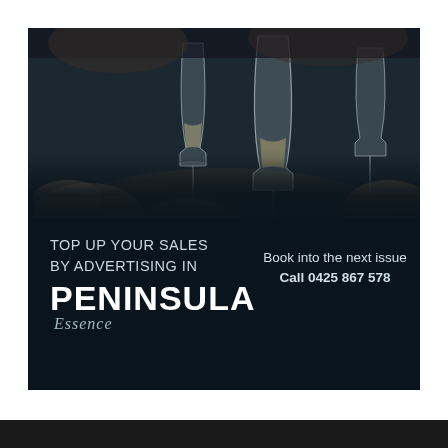[Figure (photo): People clinking wine glasses together, dark moody background, hands holding crystal wine glasses in a toast]
TOP UP YOUR SALES
BY ADVERTISING IN
PENINSULA
Essence
Book into the next issue
Call 0425 867 578